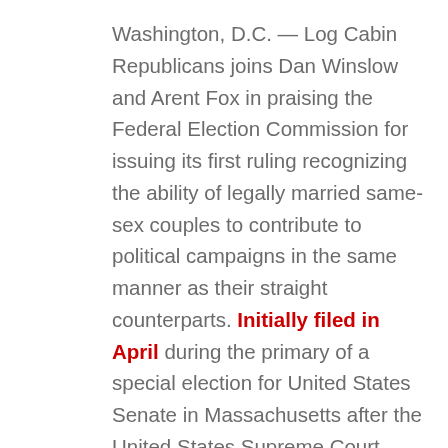Washington, D.C. — Log Cabin Republicans joins Dan Winslow and Arent Fox in praising the Federal Election Commission for issuing its first ruling recognizing the ability of legally married same-sex couples to contribute to political campaigns in the same manner as their straight counterparts. Initially filed in April during the primary of a special election for United States Senate in Massachusetts after the United States Supreme Court heard arguments in the United States v. Windsor case regarding Section 3 of the Federal Defense of Marriage Act (DOMA) but before the court's historic ruling striking it down, the FEC agreed to re-hear the request in light of the new landscape regarding federal recognition of same-sex marriages. The draft opinion posted